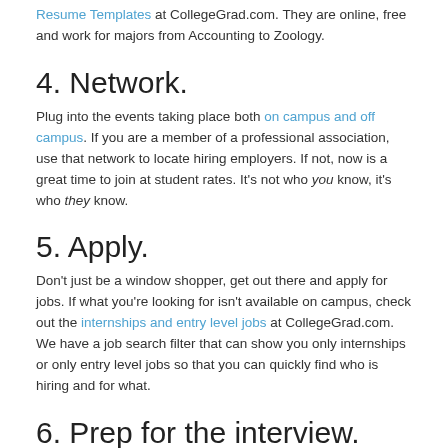Resume Templates at CollegeGrad.com. They are online, free and work for majors from Accounting to Zoology.
4. Network.
Plug into the events taking place both on campus and off campus. If you are a member of a professional association, use that network to locate hiring employers. If not, now is a great time to join at student rates. It's not who you know, it's who they know.
5. Apply.
Don't just be a window shopper, get out there and apply for jobs. If what you're looking for isn't available on campus, check out the internships and entry level jobs at CollegeGrad.com. We have a job search filter that can show you only internships or only entry level jobs so that you can quickly find who is hiring and for what.
6. Prep for the interview.
If you haven't yet done a mock interview, now is the time to get it